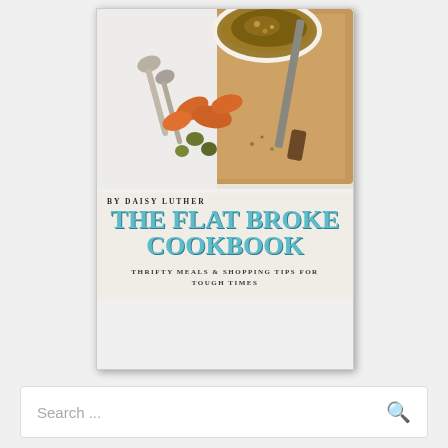[Figure (illustration): Book cover of 'The Flat Broke Cookbook' by Daisy Luther. Top half shows a food photograph with a bowl of soup, spoons, carrots, olives, and a knife on a cutting board. Bottom half shows the book title in large teal serif font, author name, and subtitle 'Thrifty Meals & Shopping Tips for Tough Times'.]
Search ...